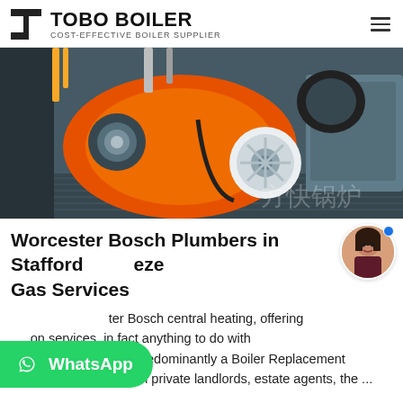TOBO BOILER — COST-EFFECTIVE BOILER SUPPLIER
[Figure (photo): Close-up photo of an orange industrial boiler burner unit in a factory setting with Chinese characters visible in the background.]
Worcester Bosch Plumbers in Staffordshire Gas Services
... Worcester Bosch central heating, offering ... on services, in fact anything to do with oil, gas and LPG. I'm predominantly a Boiler Replacement specialist and work with private landlords, estate agents, the ...